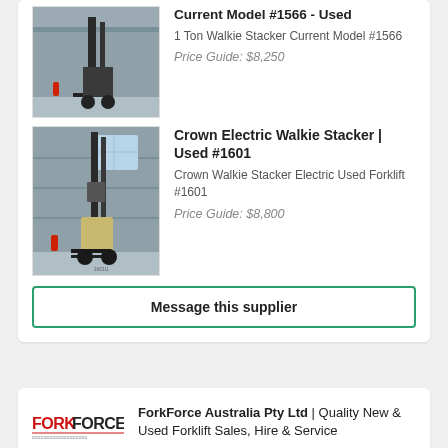Current Model #1566 - Used
1 Ton Walkie Stacker Current Model #1566
Price Guide: $8,250
[Figure (photo): Photo of a used walkie stacker forklift (Current Model #1566) parked outside a building]
Crown Electric Walkie Stacker | Used #1601
Crown Walkie Stacker Electric Used Forklift #1601
Price Guide: $8,800
[Figure (photo): Photo of a Crown Electric Walkie Stacker forklift (#1601) parked outside against a wall]
Message this supplier
ForkForce Australia Pty Ltd | Quality New & Used Forklift Sales, Hire & Service
• ForkForce Australia is one of the country's largest fully independent and wholly Australian owned and operated forklift dealers